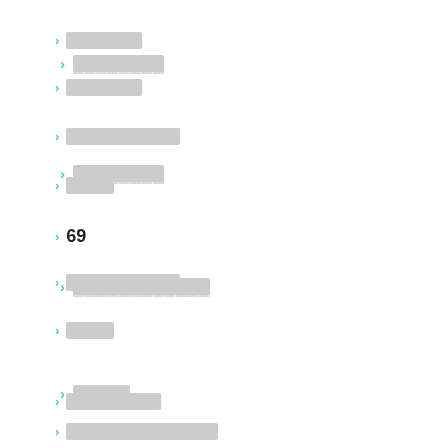▓▓▓▓▓▓▓▓
▓▓▓▓▓▓▓▓
▓▓▓▓▓▓▓▓▓▓▓▓
▓▓▓▓▓
69
▓▓▓▓▓▓▓▓▓▓▓▓
▓▓▓▓▓
▓▓▓▓▓▓▓▓▓▓
▓▓▓▓▓▓▓▓▓▓▓▓▓▓▓▓